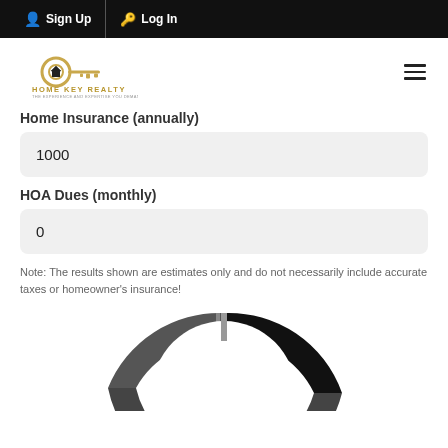Sign Up  Log In
[Figure (logo): Home Key Realty logo with golden key icon and text]
Home Insurance (annually)
1000
HOA Dues (monthly)
0
Note: The results shown are estimates only and do not necessarily include accurate taxes or homeowner's insurance!
[Figure (donut-chart): Partial donut/pie chart showing mortgage breakdown in black, dark gray, and gray segments, partially cropped at bottom of page]